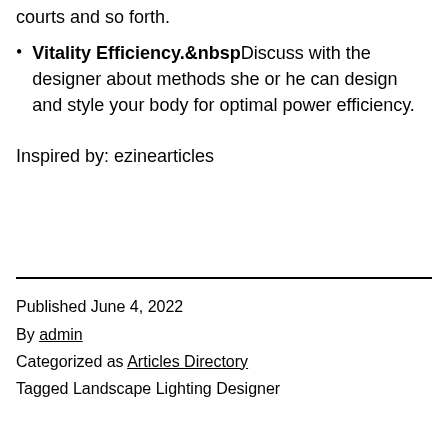courts and so forth.
Vitality Efficiency. Discuss with the designer about methods she or he can design and style your body for optimal power efficiency.
Inspired by: ezinearticles
Published June 4, 2022
By admin
Categorized as Articles Directory
Tagged Landscape Lighting Designer